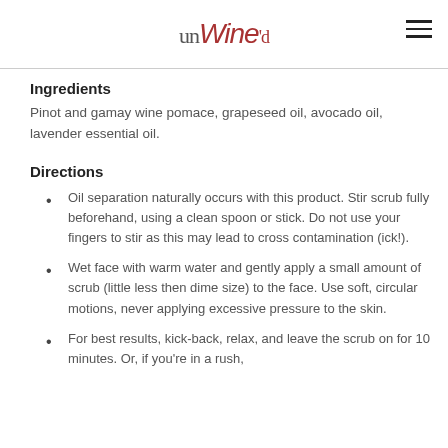unWine'd
Ingredients
Pinot and gamay wine pomace, grapeseed oil, avocado oil, lavender essential oil.
Directions
Oil separation naturally occurs with this product. Stir scrub fully beforehand, using a clean spoon or stick. Do not use your fingers to stir as this may lead to cross contamination (ick!).
Wet face with warm water and gently apply a small amount of scrub (little less then dime size) to the face. Use soft, circular motions, never applying excessive pressure to the skin.
For best results, kick-back, relax, and leave the scrub on for 10 minutes. Or, if you're in a rush,